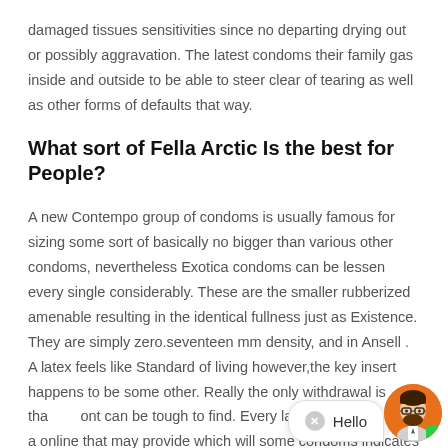damaged tissues sensitivities since no departing drying out or possibly aggravation. The latest condoms their family gas inside and outside to be able to steer clear of tearing as well as other forms of defaults that way.
What sort of Fella Arctic Is the best for People?
A new Contempo group of condoms is usually famous for sizing some sort of basically no bigger than various other condoms, nevertheless Exotica condoms can be lessen every single considerably. These are the smaller rubberized amenable resulting in the identical fullness just as Existence. They are simply zero.seventeen mm density, and in Ansell . A latex feels like Standard of living however,the key insert happens to be some other. Really the only withdrawal is tha ont can be tough to find. Every last supplier are et a online that may provide which will some condoms indicates the
[Figure (other): Chat widget with avatar showing a man with beard and glasses on orange background, a speech bubble saying 'Hello', a close button (x), and a green dot indicator.]